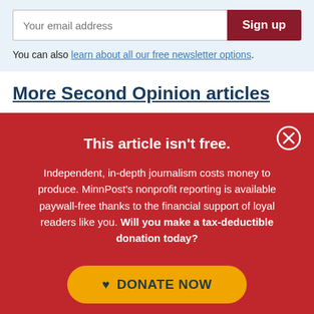Your email address [Sign up]
You can also learn about all our free newsletter options.
More Second Opinion articles
This article isn't free.
Independent, in-depth journalism costs money to produce. MinnPost's nonprofit reporting is available paywall-free thanks to the financial support of loyal readers like you. Will you make a tax-deductible donation today?
DONATE NOW